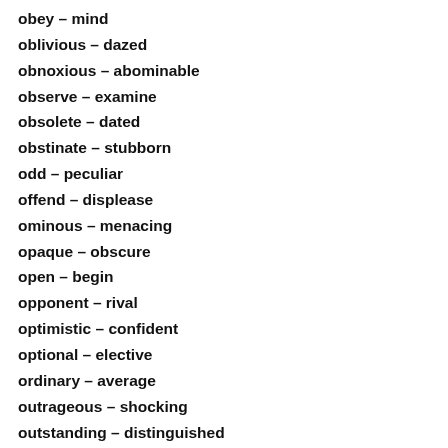obey – mind
oblivious – dazed
obnoxious – abominable
observe – examine
obsolete – dated
obstinate – stubborn
odd – peculiar
offend – displease
ominous – menacing
opaque – obscure
open – begin
opponent – rival
optimistic – confident
optional – elective
ordinary – average
outrageous – shocking
outstanding – distinguished